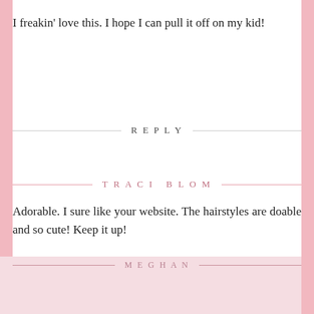I freakin' love this. I hope I can pull it off on my kid!
REPLY
TRACI BLOM
Adorable. I sure like your website. The hairstyles are doable and so cute! Keep it up!
REPLY
MEGHAN